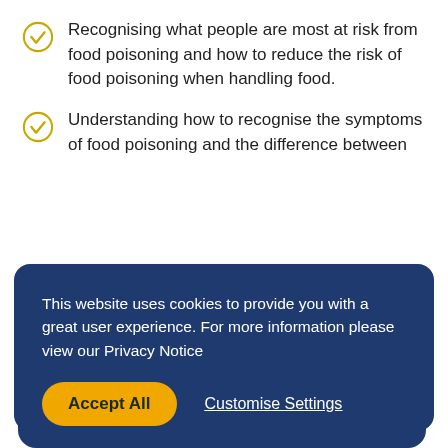Recognising what people are most at risk from food poisoning and how to reduce the risk of food poisoning when handling food.
Understanding how to recognise the symptoms of food poisoning and the difference between...
[Figure (screenshot): Cookie consent banner with dark navy blue background. Text reads: 'This website uses cookies to provide you with a great user experience. For more information please view our Privacy Notice'. Below are two buttons: 'Accept All' (yellow/gold pill button) and 'Customise Settings' (white underlined text).]
Recognising how to maintain food preparation areas to uphold good food standards in your school and taking measures to prevent pest control.
Understanding how to maintain and the importance of personal hygiene when working